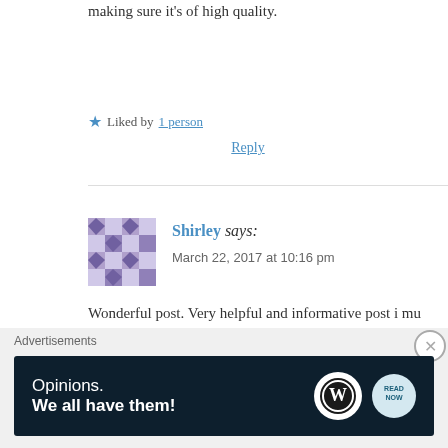making sure it's of high quality.
★ Liked by 1 person
Reply
Shirley says:
March 22, 2017 at 10:16 pm
Wonderful post. Very helpful and informative post i mu which you have outlined about blogging.
★ Liked by 1 person
Reply
[Figure (other): WordPress advertisement banner: 'Opinions. We all have them!' with WordPress logo and report icon on dark navy background]